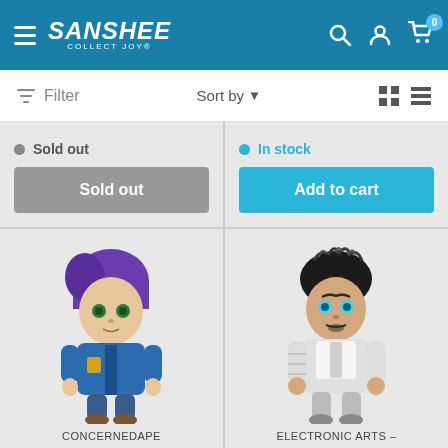SANSHEE COLLECT JOY — Navigation header with hamburger menu, search, account, and cart icons
Filter  Sort by  (grid/list view icons)
Sold out
In stock
Sold out (button)
Add to cart (button)
[Figure (illustration): Chibi-style character with purple hair wearing a blue jacket — CONCERNEDAPE product pin]
[Figure (illustration): Chibi-style character with black slicked hair wearing white armor — ELECTRONIC ARTS product pin]
CONCERNEDAPE
ELECTRONIC ARTS –